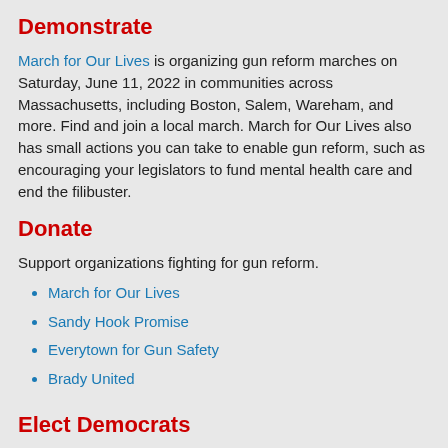Demonstrate
March for Our Lives is organizing gun reform marches on Saturday, June 11, 2022 in communities across Massachusetts, including Boston, Salem, Wareham, and more. Find and join a local march. March for Our Lives also has small actions you can take to enable gun reform, such as encouraging your legislators to fund mental health care and end the filibuster.
Donate
Support organizations fighting for gun reform.
March for Our Lives
Sandy Hook Promise
Everytown for Gun Safety
Brady United
Elect Democrats
We must strengthen our majorities in the House and Senate